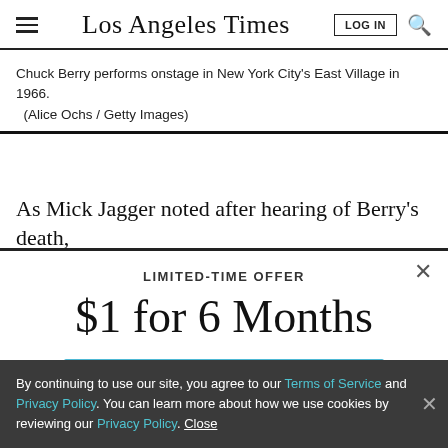Los Angeles Times
Chuck Berry performs onstage in New York City's East Village in 1966.
(Alice Ochs / Getty Images)
As Mick Jagger noted after hearing of Berry's death,
LIMITED-TIME OFFER
$1 for 6 Months
SUBSCRIBE NOW
By continuing to use our site, you agree to our Terms of Service and Privacy Policy. You can learn more about how we use cookies by reviewing our Privacy Policy. Close